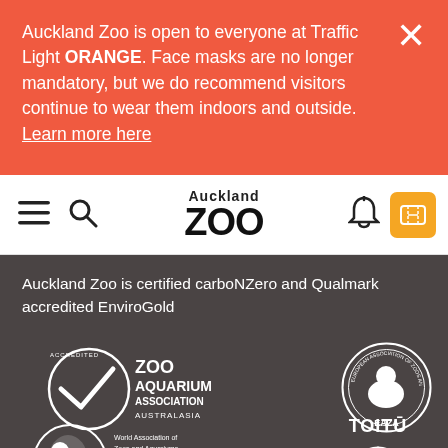Auckland Zoo is open to everyone at Traffic Light ORANGE. Face masks are no longer mandatory, but we do recommend visitors continue to wear them indoors and outside. Learn more here
[Figure (logo): Auckland Zoo navigation bar with hamburger menu, search icon, Auckland Zoo logo, bell icon, and orange ticket button]
Auckland Zoo is certified carboNZero and Qualmark accredited EnviroGold
[Figure (logo): Zoo Aquarium Association Australasia accredited logo - white circle with checkmark and text]
[Figure (logo): EAZA - European Association of Zoos and Aquaria circular logo]
[Figure (logo): WAZA - World Association of Zoos and Aquariums United for Conservation logo]
[Figure (logo): Toitu Carbon Zero logo with circular arrow icon]